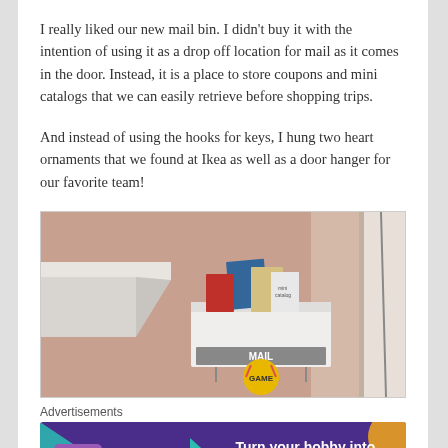I really liked our new mail bin. I didn't buy it with the intention of using it as a drop off location for mail as it comes in the door. Instead, it is a place to store coupons and mini catalogs that we can easily retrieve before shopping trips.
And instead of using the hooks for keys, I hung two heart ornaments that we found at Ikea as well as a door hanger for our favorite team!
[Figure (photo): A white wall-mounted mail bin/organizer on a pink/salmon wall, filled with mail, catalogs, and what appears to be gift cards. Below the bin hangs a yellow circular 'GAME' door hanger. A white door frame is visible on the right side.]
Advertisements
[Figure (other): WooCommerce advertisement banner with purple background, teal and orange decorative shapes, WooCommerce logo, and text 'Turn your hobby into a business in 8 steps']